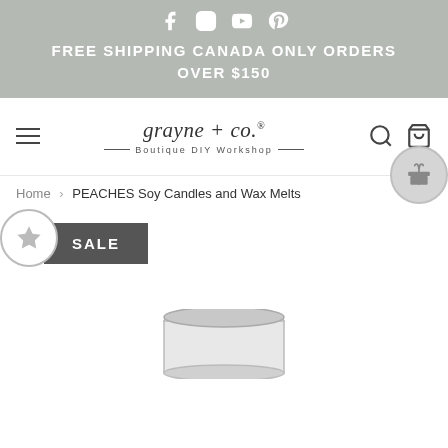FREE SHIPPING CANADA ONLY ORDERS OVER $150
[Figure (logo): grayne + co. Boutique DIY Workshop logo with hamburger menu, search and cart icons]
Home › PEACHES Soy Candles and Wax Melts
SALE
[Figure (photo): Product photo of a candle jar, partially visible at bottom of page]